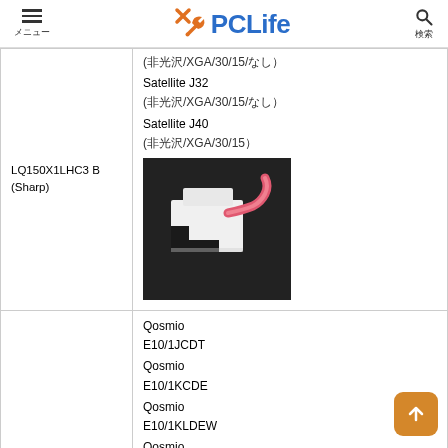メニュー | PCLife | 検索
| Part / Manufacturer | Compatible Models |
| --- | --- |
| LQ150X1LHC3 B (Sharp) | (非光沢/XGA/30/15/なし)
Satellite J32
(非光沢/XGA/30/15/なし)
Satellite J40
(非光沢/XGA/30/15)
[product image] |
|  | Qosmio E10/1JCDT
Qosmio E10/1KCDE
Qosmio E10/1KLDEW
Qosmio E10/2JCDT |
[Figure (photo): White connector/adapter component with pink ribbon cable on dark background]